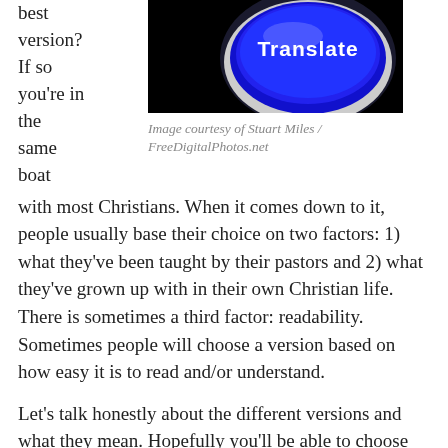best version? If so you're in the same boat
[Figure (photo): A blue button labeled 'Translate' on a black background]
Image courtesy of Stuart Miles / FreeDigitalPhotos.net
with most Christians. When it comes down to it, people usually base their choice on two factors: 1) what they've been taught by their pastors and 2) what they've grown up with in their own Christian life. There is sometimes a third factor: readability. Sometimes people will choose a version based on how easy it is to read and/or understand.
Let's talk honestly about the different versions and what they mean. Hopefully you'll be able to choose wisely and with discernment for your own needs.